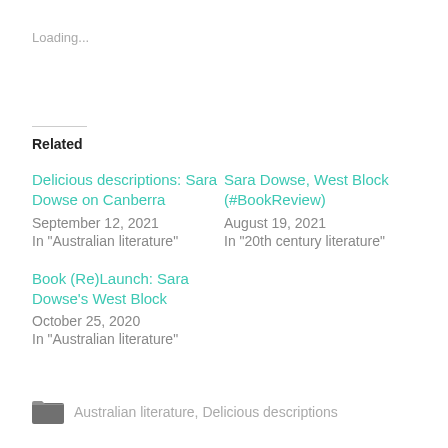Loading...
Related
Delicious descriptions: Sara Dowse on Canberra
September 12, 2021
In "Australian literature"
Sara Dowse, West Block (#BookReview)
August 19, 2021
In "20th century literature"
Book (Re)Launch: Sara Dowse's West Block
October 25, 2020
In "Australian literature"
Australian literature, Delicious descriptions